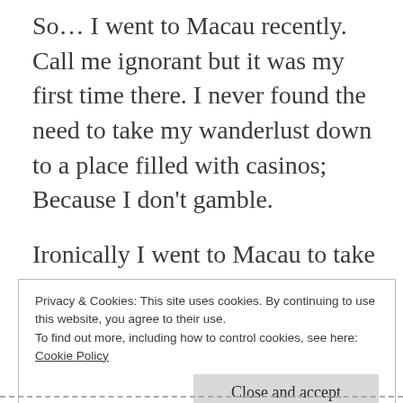So… I went to Macau recently. Call me ignorant but it was my first time there. I never found the need to take my wanderlust down to a place filled with casinos; Because I don't gamble.
Ironically I went to Macau to take part in the GCE exhibition as part of an event job under the grace of an old friend. If you are not ambitious like me, who believes I'll never be rich enough to make it to Las Vegas, you should
Privacy & Cookies: This site uses cookies. By continuing to use this website, you agree to their use.
To find out more, including how to control cookies, see here: Cookie Policy
[Close and accept]